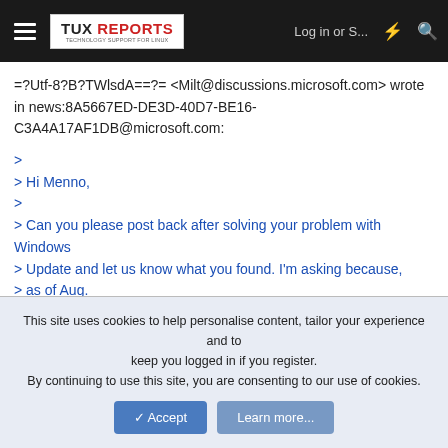TUX REPORTS | Log in or S... | [icons]
=?Utf-8?B?TWlsdA==?= <Milt@discussions.microsoft.com> wrote in news:8A5667ED-DE3D-40D7-BE16-C3A4A17AF1DB@microsoft.com:
>
> Hi Menno,
>
> Can you please post back after solving your problem with Windows
> Update and let us know what you found. I'm asking because, as of Aug.
> 3 I'm having similar problems.
>
This site uses cookies to help personalise content, tailor your experience and to keep you logged in if you register.
By continuing to use this site, you are consenting to our use of cookies.